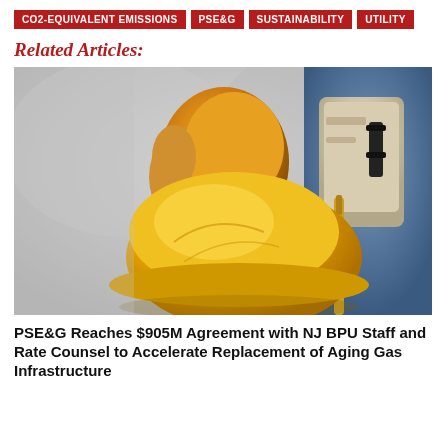CO2-EQUIVALENT EMISSIONS
PSE&G
SUSTAINABILITY
UTILITY
Related Articles:
[Figure (photo): A worker in yellow gloves holding a yellow hard hat, with a tool belt visible on the right side. The background is blurred grey.]
PSE&G Reaches $905M Agreement with NJ BPU Staff and Rate Counsel to Accelerate Replacement of Aging Gas Infrastructure